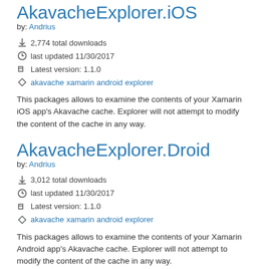AkavacheExplorer.iOS
by: Andrius
2,774 total downloads
last updated 11/30/2017
Latest version: 1.1.0
akavache xamarin android explorer
This packages allows to examine the contents of your Xamarin iOS app's Akavache cache. Explorer will not attempt to modify the content of the cache in any way.
AkavacheExplorer.Droid
by: Andrius
3,012 total downloads
last updated 11/30/2017
Latest version: 1.1.0
akavache xamarin android explorer
This packages allows to examine the contents of your Xamarin Android app's Akavache cache. Explorer will not attempt to modify the content of the cache in any way.